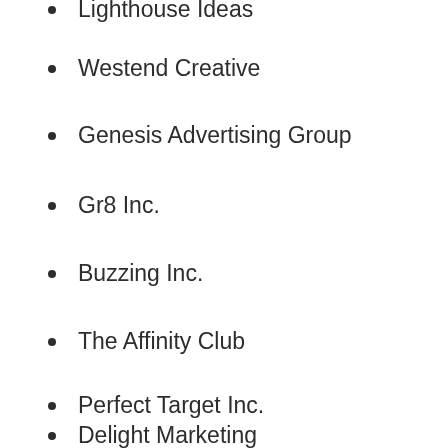Lighthouse Ideas
Westend Creative
Genesis Advertising Group
Gr8 Inc.
Buzzing Inc.
The Affinity Club
Perfect Target Inc.
Delight Marketing